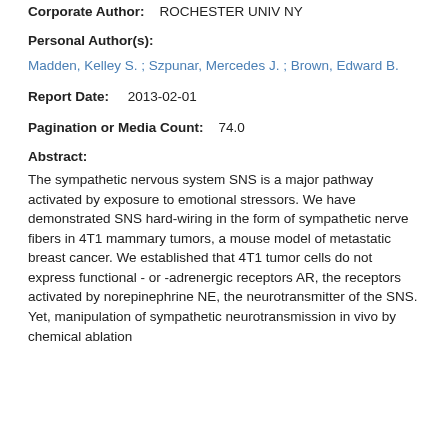Corporate Author:   ROCHESTER UNIV NY
Personal Author(s):
Madden, Kelley S. ; Szpunar, Mercedes J. ; Brown, Edward B.
Report Date:    2013-02-01
Pagination or Media Count:    74.0
Abstract:
The sympathetic nervous system SNS is a major pathway activated by exposure to emotional stressors. We have demonstrated SNS hard-wiring in the form of sympathetic nerve fibers in 4T1 mammary tumors, a mouse model of metastatic breast cancer. We established that 4T1 tumor cells do not express functional - or -adrenergic receptors AR, the receptors activated by norepinephrine NE, the neurotransmitter of the SNS. Yet, manipulation of sympathetic neurotransmission in vivo by chemical ablation